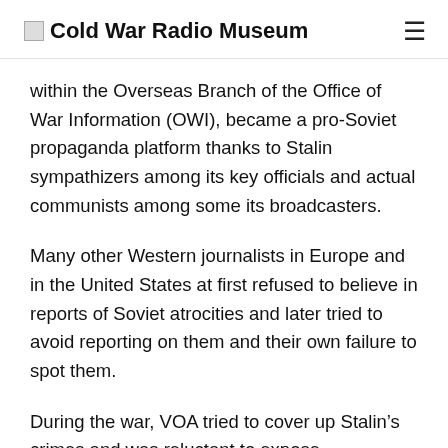Cold War Radio Museum
within the Overseas Branch of the Office of War Information (OWI), became a pro-Soviet propaganda platform thanks to Stalin sympathizers among its key officials and actual communists among some its broadcasters.
Many other Western journalists in Europe and in the United States at first refused to believe in reports of Soviet atrocities and later tried to avoid reporting on them and their own failure to spot them.
During the war, VOA tried to cover up Stalin’s crimes and was reluctant to expose